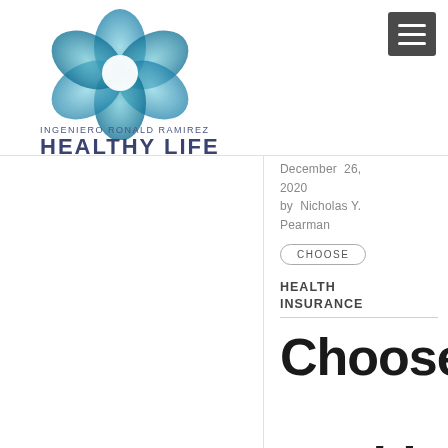[Figure (logo): Ingeniero Ronald Ramirez Healthy Life logo — a blue flower/petal shape made of overlapping translucent teal/cyan petals with a white center]
INGENIERO RONALD RAMIREZ
HEALTHY LIFE
December 26, 2020
by Nicholas Y. Pearman
CHOOSE
HEALTH INSURANCE
Choose
Health